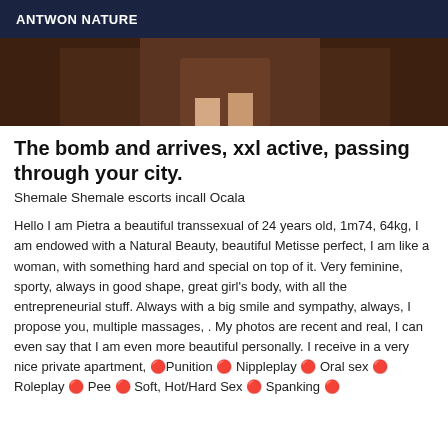ANTWON NATURE
[Figure (photo): Partial photo showing legs/lower body on a brown leather surface]
The bomb and arrives, xxl active, passing through your city.
Shemale Shemale escorts incall Ocala
Hello I am Pietra a beautiful transsexual of 24 years old, 1m74, 64kg, I am endowed with a Natural Beauty, beautiful Metisse perfect, I am like a woman, with something hard and special on top of it. Very feminine, sporty, always in good shape, great girl's body, with all the entrepreneurial stuff. Always with a big smile and sympathy, always, I propose you, multiple massages, . My photos are recent and real, I can even say that I am even more beautiful personally. I receive in a very nice private apartment, 🔴Punition 🔴 Nippleplay 🔴 Oral sex 🔴 Roleplay 🔴 Pee 🔴 Soft, Hot/Hard Sex 🔴 Spanking 🔴